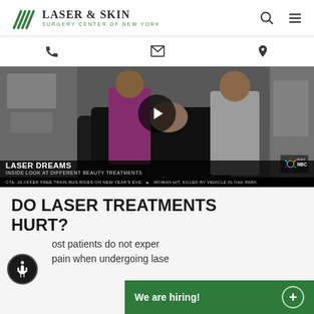LASER & SKIN SURGERY CENTER OF NEW YORK
[Figure (screenshot): Navigation icon bar with phone, email envelope, and location pin icons]
[Figure (screenshot): Video thumbnail showing NBC News segment 'LASER DREAMS - INSIDE LOOK AT DIFFERENT BEAUTY TREATMENTS' with a patient in a reclining chair, a doctor in white coat and a woman in pink jacket, with a play button overlay]
DO LASER TREATMENTS HURT?
ost patients do not exper... pain when undergoing lase...
[Figure (screenshot): Accessibility icon button (circular black button with wheelchair user symbol)]
We are hiring!